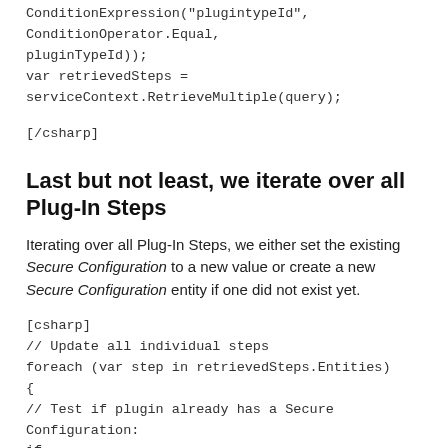ConditionExpression("plugintypeId", ConditionOperator.Equal, pluginTypeId));
var retrievedSteps = serviceContext.RetrieveMultiple(query);
[/csharp]
Last but not least, we iterate over all Plug-In Steps
Iterating over all Plug-In Steps, we either set the existing Secure Configuration to a new value or create a new Secure Configuration entity if one did not exist yet.
[csharp]
// Update all individual steps
foreach (var step in retrievedSteps.Entities)
{
// Test if plugin already has a Secure Configuration:
if